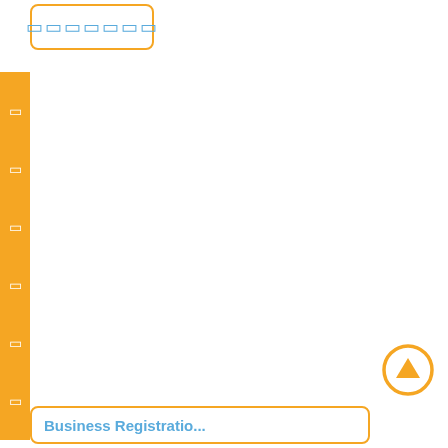[Figure (other): Orange rounded rectangle box with blue square icon characters inside, top left area]
[Figure (other): Orange vertical sidebar with 6 white square icon characters evenly spaced]
[Figure (other): Orange circle with upward arrow navigation icon, bottom right]
[Figure (other): Orange rounded rectangle box with blue text 'Business Registratio...' partially visible, bottom of page]